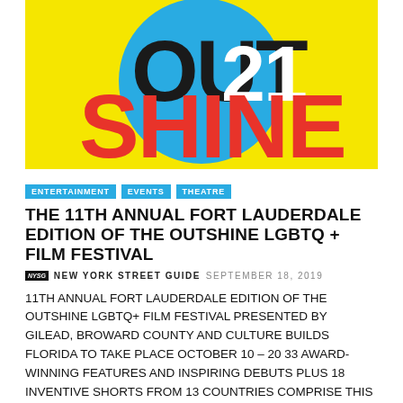[Figure (logo): Outshine 21 film festival logo: yellow background with blue circle, bold text 'OUT' with '21' overlaid, and 'SHINE' in red below]
ENTERTAINMENT
EVENTS
THEATRE
THE 11TH ANNUAL FORT LAUDERDALE EDITION OF THE OUTSHINE LGBTQ + FILM FESTIVAL
NYSG  NEW YORK STREET GUIDE  SEPTEMBER 18, 2019
11TH ANNUAL FORT LAUDERDALE EDITION OF THE OUTSHINE LGBTQ+ FILM FESTIVAL PRESENTED BY GILEAD, BROWARD COUNTY AND CULTURE BUILDS FLORIDA TO TAKE PLACE OCTOBER 10 – 20 33 Award-winning Features and Inspiring Debuts Plus 18 Inventive Shorts from 13 Countries Comprise This Year's Diverse